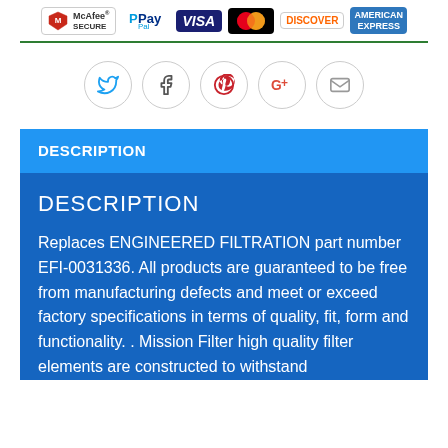[Figure (other): Payment security badges: McAfee Secure, PayPal, Visa, Mastercard, Discover, American Express]
[Figure (other): Social media share icons: Twitter, Facebook, Pinterest, Google+, Email]
DESCRIPTION
DESCRIPTION
Replaces ENGINEERED FILTRATION part number EFI-0031336. All products are guaranteed to be free from manufacturing defects and meet or exceed factory specifications in terms of quality, fit, form and functionality. . Mission Filter high quality filter elements are constructed to withstand